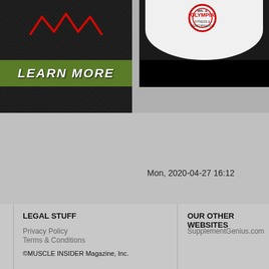[Figure (screenshot): Dark textured ad panel top left with red logo graphic]
[Figure (photo): Olympia branded photo top right showing person in white jersey with Olympia logo]
[Figure (other): Green LEARN MORE button banner]
Mon, 2020-04-27 16:12
LEGAL STUFF
Privacy Policy
Terms & Conditions
©MUSCLE INSIDER Magazine, Inc.
OUR OTHER WEBSITES
SupplementGenius.com
[Figure (other): Dark banner at bottom with Mutant logo (red biohazard symbol) and text FAST FOOD WITH]